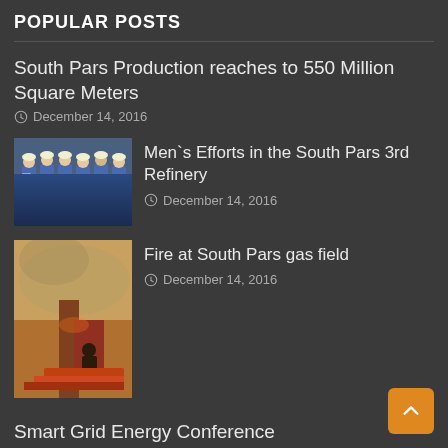POPULAR POSTS
South Pars Production reaches to 550 Million Square Meters
December 14, 2016
[Figure (photo): Group of workers in blue uniforms and white hard hats standing together]
Men`s Efforts in the South Pars 3rd Refinery
December 14, 2016
[Figure (photo): Worker operating equipment at the South Pars gas field with smoke/fire in background]
Fire at South Pars gas field
December 14, 2016
Smart Grid Energy Conference
December 21, 2016
[Figure (photo): Industrial oil/gas structures against blue sky]
Expansion of Oil Exploration in Persian Gulf
December 31, 2016